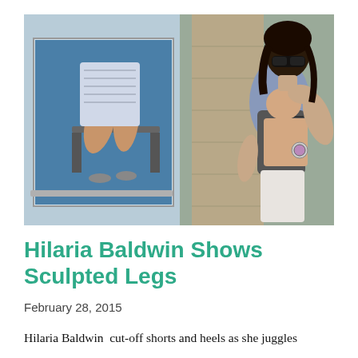[Figure (photo): A woman with dark hair and sunglasses carrying a baby in a gray ergobaby carrier, walking on a street. To the left is a large advertisement billboard showing a woman's legs in shorts.]
Hilaria Baldwin Shows Sculpted Legs
February 28, 2015
Hilaria Baldwin  cut-off shorts and heels as she juggles